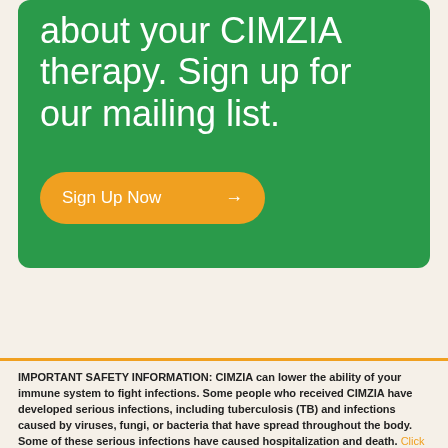about your CIMZIA therapy. Sign up for our mailing list.
[Figure (other): Orange rounded button with white text 'Sign Up Now' and right arrow]
IMPORTANT SAFETY INFORMATION: CIMZIA can lower the ability of your immune system to fight infections. Some people who received CIMZIA have developed serious infections, including tuberculosis (TB) and infections caused by viruses, fungi, or bacteria that have spread throughout the body. Some of these serious infections have caused hospitalization and death. Click to open full Prescribing Information.